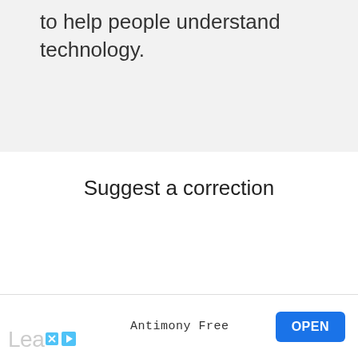to help people understand technology.
Suggest a correction
[Figure (screenshot): Advertisement bar at the bottom showing 'Antimony Free' with an OPEN button, Lea logo with X and play icons]